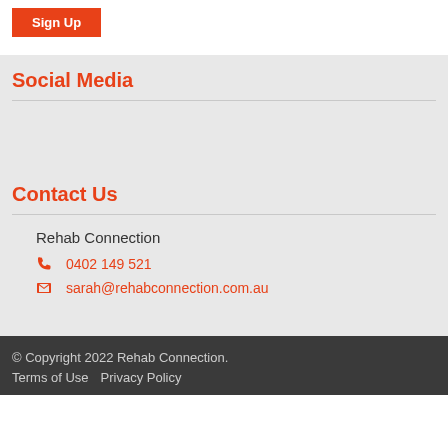Sign Up
Social Media
Contact Us
Rehab Connection
0402 149 521
sarah@rehabconnection.com.au
© Copyright 2022 Rehab Connection.
Terms of Use   Privacy Policy